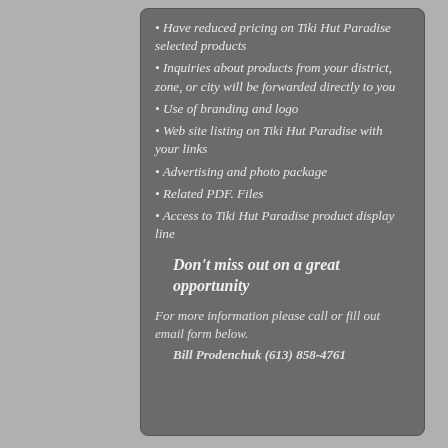Have reduced pricing on Tiki Hut Paradise selected products
Inquiries about products from your district, zone, or city will be forwarded directly to you
Use of branding and logo
Web site listing on Tiki Hut Paradise with your links
Advertising and photo package
Related PDF. Files
Access to Tiki Hut Paradise product display line
Don't miss out on a great opportunity
For more information please call or fill out email form below.
Bill Prodenchuk (613) 858-4761